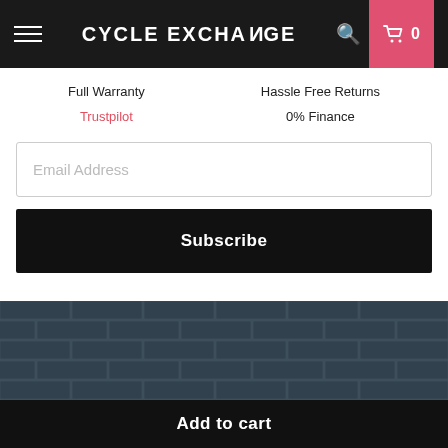CYCLE EXCHANGE
Full Warranty
Hassle Free Returns
Trustpilot
0% Finance
Email Address
Subscribe
[Figure (photo): Red racing bicycle leaning against a dark brick wall, with text overlay 'Can't find what you're looking fo...' and a chat bubble icon]
Can't find what you're looking fo...
Add to cart